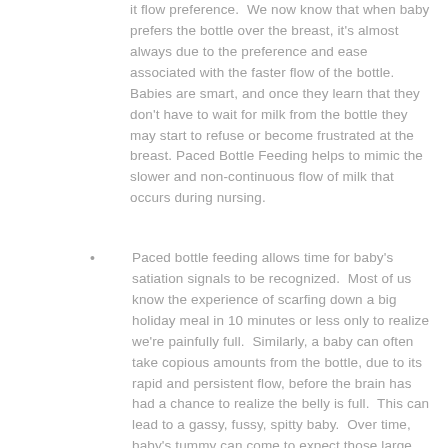it flow preference.  We now know that when baby prefers the bottle over the breast, it's almost always due to the preference and ease associated with the faster flow of the bottle.  Babies are smart, and once they learn that they don't have to wait for milk from the bottle they may start to refuse or become frustrated at the breast. Paced Bottle Feeding helps to mimic the slower and non-continuous flow of milk that occurs during nursing.
Paced bottle feeding allows time for baby's satiation signals to be recognized.  Most of us know the experience of scarfing down a big holiday meal in 10 minutes or less only to realize we're painfully full.  Similarly, a baby can often take copious amounts from the bottle, due to its rapid and persistent flow, before the brain has had a chance to realize the belly is full.  This can lead to a gassy, fussy, spitty baby.  Over time, baby's tummy can come to expect those large feeds even if the volume isn't necessary for baby's complete nutrition.  Additionally, the same large study